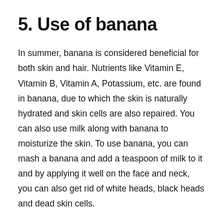5. Use of banana
In summer, banana is considered beneficial for both skin and hair. Nutrients like Vitamin E, Vitamin B, Vitamin A, Potassium, etc. are found in banana, due to which the skin is naturally hydrated and skin cells are also repaired. You can also use milk along with banana to moisturize the skin. To use banana, you can mash a banana and add a teaspoon of milk to it and by applying it well on the face and neck, you can also get rid of white heads, black heads and dead skin cells.
To protect the skin from the wrath of summer, you must clean the skin and use sunscreen